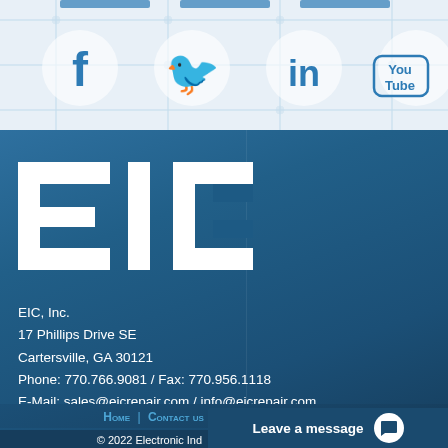[Figure (logo): Social media icons bar with Facebook, Twitter, LinkedIn, YouTube icons on a light circuit-board background]
[Figure (logo): EIC logo in white text on dark blue background]
EIC, Inc.
17 Phillips Drive SE
Cartersville, GA 30121
Phone: 770.766.9081 / Fax: 770.956.1118
E-Mail: sales@eicrepair.com / info@eicrepair.com
Home | Contact us | Careers | Packing Slip
© 2022 Electronic Industrial Controllers reserved. All rights reserved.
Leave a message